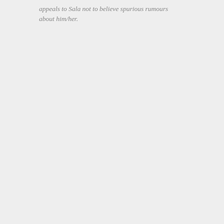appeals to Sala not to believe spurious rumours about him/her.